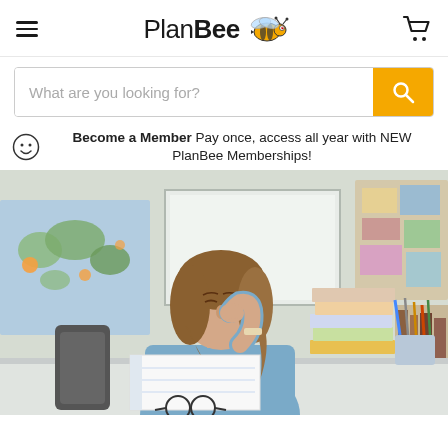PlanBee — navigation header with hamburger menu, logo, and cart icon
What are you looking for? [search bar]
Become a Member Pay once, access all year with NEW PlanBee Memberships!
[Figure (photo): A stressed female teacher sitting at a desk with her hand on her nose bridge, eyes closed. Books and pencil holder on the desk, world map and whiteboard visible in background.]